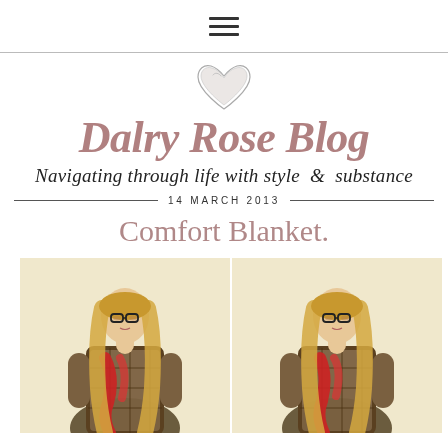≡ (hamburger menu icon)
[Figure (illustration): Sketched heart icon in light gray/silver pencil style]
Dalry Rose Blog
Navigating through life with style & substance
14 MARCH 2013
Comfort Blanket.
[Figure (photo): Two side-by-side photos of a blonde woman wearing glasses, a plaid dress and a red scarf, posed against a cream/beige wall]